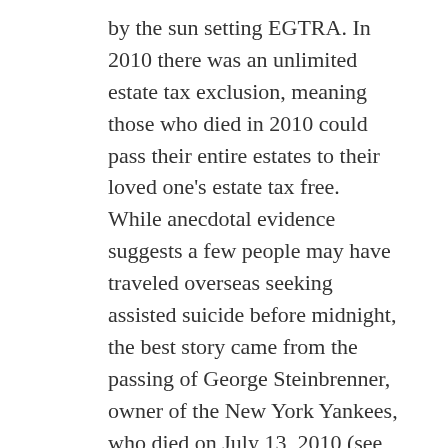by the sun setting EGTRA. In 2010 there was an unlimited estate tax exclusion, meaning those who died in 2010 could pass their entire estates to their loved one's estate tax free. While anecdotal evidence suggests a few people may have traveled overseas seeking assisted suicide before midnight, the best story came from the passing of George Steinbrenner, owner of the New York Yankees, who died on July 13, 2010 (see full article here)
Click here to get our free knowledge series for Financial Advisors
American Taxpayer Relief Act of 2012
During the years of EGTRA the estate tax, the gift tax and the generation skipping tax were considered three different buckets from which